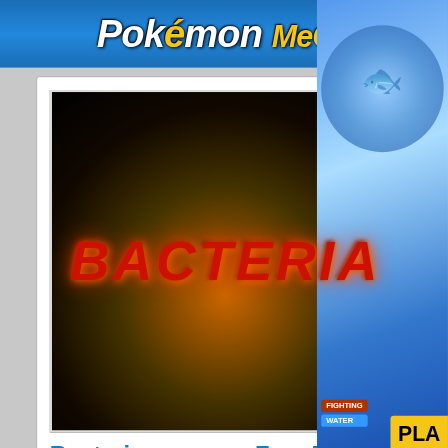[Figure (screenshot): Pokemon Mega banner at top of webpage]
[Figure (screenshot): Bacteria game cover image - dark background with red fiery BACTERIA text]
Bacteria Free Download
4 YEARS AGO in Puzzle
Bacteria Free Download pc game setup in single direct link for windows computers. It is an puzzle game. [Continue...]
[Figure (screenshot): Right sidebar: Pokemon game ad with blue pokemon character and PLAY button, type badges showing FIGHTING and WATER]
[Figure (infographic): HOW TO FIX COMMON ERRORS blue box in right sidebar]
Game Installation Errors & Fix
Go to Top